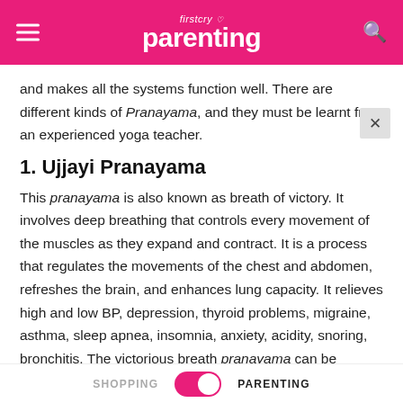firstcry Parenting
and makes all the systems function well. There are different kinds of Pranayama, and they must be learnt from an experienced yoga teacher.
1. Ujjayi Pranayama
This pranayama is also known as breath of victory. It involves deep breathing that controls every movement of the muscles as they expand and contract. It is a process that regulates the movements of the chest and abdomen, refreshes the brain, and enhances lung capacity. It relieves high and low BP, depression, thyroid problems, migraine, asthma, sleep apnea, insomnia, anxiety, acidity, snoring, bronchitis. The victorious breath pranayama can be practised
SHOPPING   PARENTING